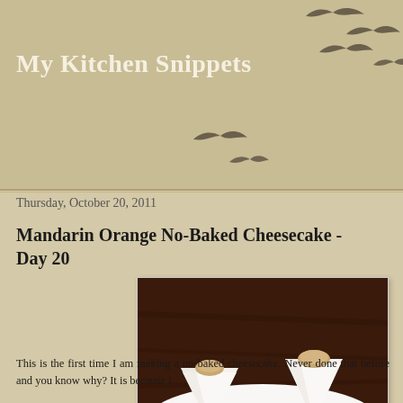My Kitchen Snippets
[Figure (illustration): Silhouette birds flying in a diagonal pattern across a beige/tan header background]
Thursday, October 20, 2011
Mandarin Orange No-Baked Cheesecake - Day 20
[Figure (photo): Two cone-shaped white cheesecakes on a white plate, sitting on orange mandarin slices, with a biscuit/cookie on top of each cone, garnished with small orange pieces and green herb leaves, on a dark wooden table background. Watermark reads My Kitchen Snippets.]
This is the first time I am making a no-baked cheesecake. Never done that before and you know why? It is because I